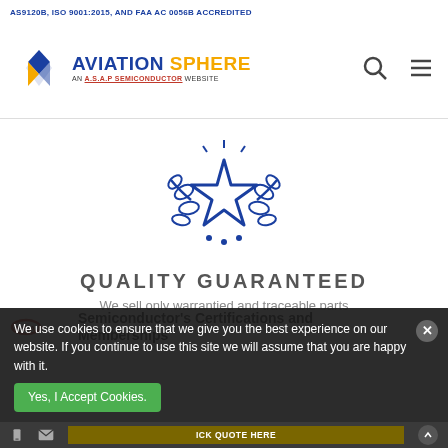AS9120B, ISO 9001:2015, AND FAA AC 0056B ACCREDITED
[Figure (logo): Aviation Sphere logo — blue diamond arrow icon, blue text AVIATION, yellow text SPHERE, subtitle AN A.S.A.P SEMICONDUCTOR WEBSITE]
[Figure (illustration): Blue outline star with laurel wreath and sparkles quality icon]
QUALITY GUARANTEED
We sell only warrantied and traceable parts
Semiconductor's Certifications and Memberships
We use cookies to ensure that we give you the best experience on our website. If you continue to use this site we will assume that you are happy with it.
Yes, I Accept Cookies.